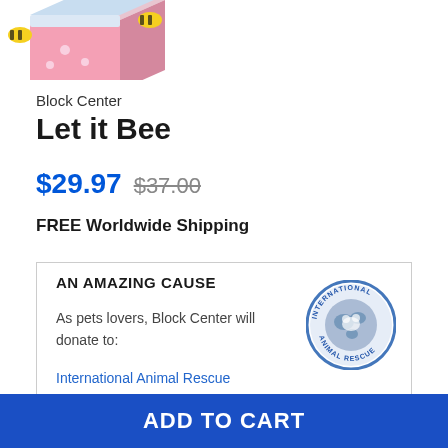[Figure (photo): Product image of Let it Bee block puzzle box with bee and floral design, partially cropped at top]
Block Center
Let it Bee
$29.97  $37.00
FREE Worldwide Shipping
AN AMAZING CAUSE
As pets lovers, Block Center will donate to:
International Animal Rescue
[Figure (logo): International Animal Rescue circular logo with globe and animal silhouette]
ADD TO CART